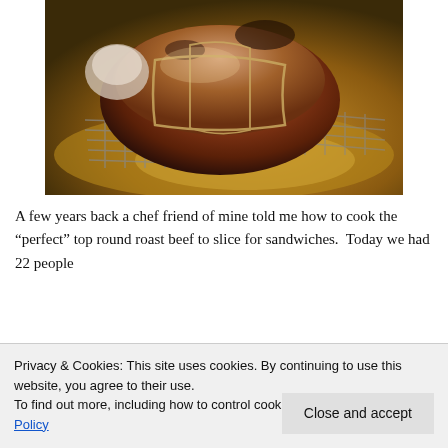[Figure (photo): A roast beef tied with string, sitting on a wire rack in a roasting pan, with golden-brown drippings visible. The meat is browning and appears to be cooking in an oven.]
A few years back a chef friend of mine told me how to cook the “perfect” top round roast beef to slice for sandwiches.  Today we had 22 people
Privacy & Cookies: This site uses cookies. By continuing to use this website, you agree to their use.
To find out more, including how to control cookies, see here: Cookie Policy
Close and accept